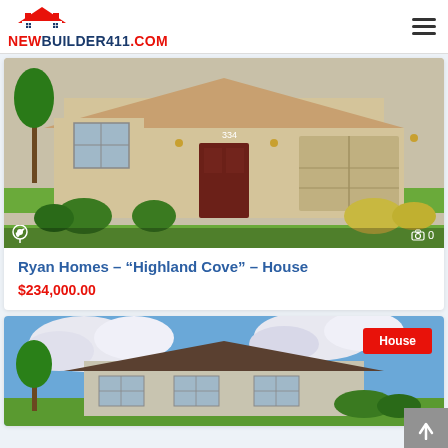NEWBUILDER411.COM
[Figure (photo): Exterior photo of a tan/beige stucco single-family home with red-brown front door, two-car garage, and green lawn. Map pin icon and photo counter overlay at bottom.]
Ryan Homes – “Highland Cove” – House
$234,000.00
[Figure (photo): Exterior photo of a light gray/beige single-story house with dark brown roof, green trees, and blue cloudy sky. Red 'House' badge overlay in upper right corner.]